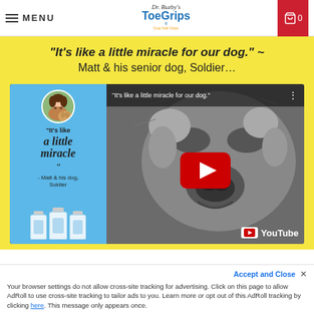MENU | Dr. Buzby's ToeGrips Dog Nail Grips
"It's like a little miracle for our dog." ~ Matt & his senior dog, Soldier…
[Figure (screenshot): YouTube video thumbnail showing a close-up of a golden retriever's face in black and white. Left panel is light blue with quote text 'It's like a little miracle' attributed to Matt & his dog, Soldier, with product bottles shown at the bottom. A YouTube play button is centered on the right panel. YouTube logo appears at bottom right.]
Your browser settings do not allow cross-site tracking for advertising. Click on this page to allow AdRoll to use cross-site tracking to tailor ads to you. Learn more or opt out of this AdRoll tracking by clicking here. This message only appears once.